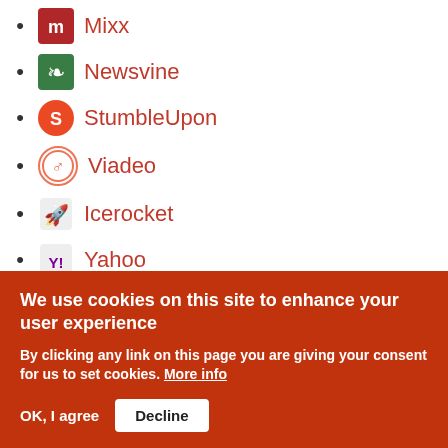Mixx
Newsvine
StumbleUpon
Viadeo
Icerocket
Yahoo
identi.ca
Google+
Reddit
SlashDot
We use cookies on this site to enhance your user experience
By clicking any link on this page you are giving your consent for us to set cookies. More info